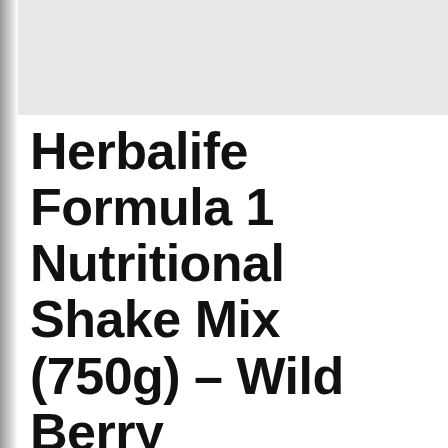Herbalife Formula 1 Nutritional Shake Mix (750g) – Wild Berry
Posted by Larry on May 20, 2014 at 8:48 pm
Herbalife Formula 1 Nutritional Shake Mix (750g) – Wild Berry
[Figure (photo): Photo of a Herbalife Formula 1 Healthy Meal Wild Berry container (750g), white lid, green Herbalife label]
"30 Day Supply For Weight Loss (twice a day). Weight Maintenance (once a day)." A healthy meal for balanced nutrition "Manage weight, gain better health" Get 9g of protein and healthy fiber